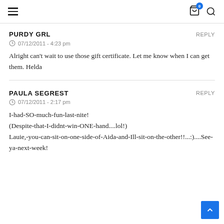Navigation header with hamburger menu, cart icon (badge: 0), and search icon
PURDY GRL
07/12/2011 - 4:23 pm
Alright can’t wait to use those gift certificate. Let me know when I can get them. Helda
PAULA SEGREST
07/12/2011 - 2:17 pm
I-had-SO-much-fun-last-nite!
(Despite-that-I-didnt-win-ONE-hand....lol!)
Lauie,-you-can-sit-on-one-side-of-Aida-and-Ill-sit-on-the-other!!...:)....See-ya-next-week!